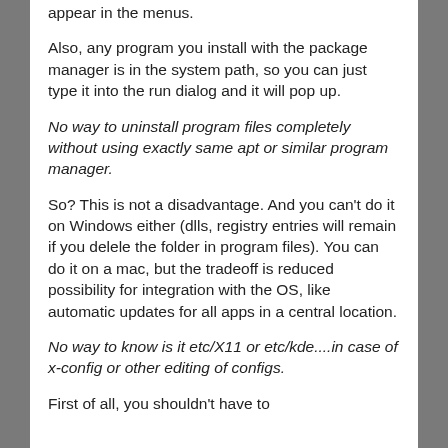appear in the menus.
Also, any program you install with the package manager is in the system path, so you can just type it into the run dialog and it will pop up.
No way to uninstall program files completely without using exactly same apt or similar program manager.
So? This is not a disadvantage. And you can't do it on Windows either (dlls, registry entries will remain if you delele the folder in program files). You can do it on a mac, but the tradeoff is reduced possibility for integration with the OS, like automatic updates for all apps in a central location.
No way to know is it etc/X11 or etc/kde....in case of x-config or other editing of configs.
First of all, you shouldn't have to